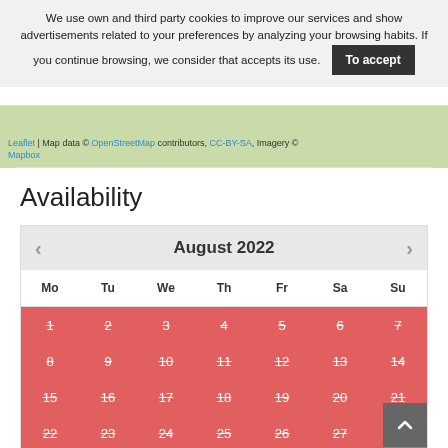We use own and third party cookies to improve our services and show advertisements related to your preferences by analyzing your browsing habits. If you continue browsing, we consider that accepts its use.  [To accept]
[Figure (map): Partial map view with attribution links: Leaflet, Map data © OpenStreetMap contributors, CC-BY-SA, Imagery © Mapbox]
Availability
| Mo | Tu | We | Th | Fr | Sa | Su |
| --- | --- | --- | --- | --- | --- | --- |
| 1 | 2 | 3 | 4 | 5 | 6 | 7 |
| 8 | 9 | 10 | 11 | 12 | 13 | 14 |
| 15 | 16 | 17 | 18 | 19 | 20 | 21 |
| 22 | 23 | 24 | 25 | 26 | 27 | 28 |
| 29 | 30 | 31 |  |  |  |  |